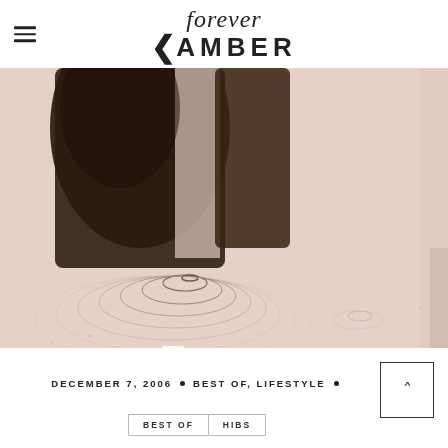forever AMBER
[Figure (photo): Reflection of a person's lower body in a rain puddle, showing ripples on a pale pinkish-beige water surface with concentric circles]
DECEMBER 7, 2006 • BEST OF, LIFESTYLE •
BEST OF | HIBS